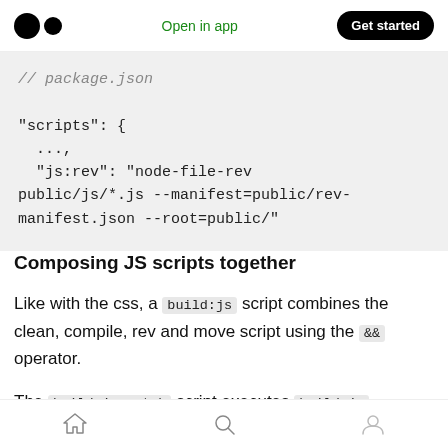Open in app | Get started
[Figure (screenshot): Medium logo (two black circles) on the left, 'Open in app' green text in center, 'Get started' black pill button on right]
// package.json

"scripts": {
  ...,
  "js:rev": "node-file-rev public/js/*.js --manifest=public/rev-manifest.json --root=public/"
Composing JS scripts together
Like with the css, a build:js script combines the clean, compile, rev and move script using the && operator.
The build:js:watch script executes build:js